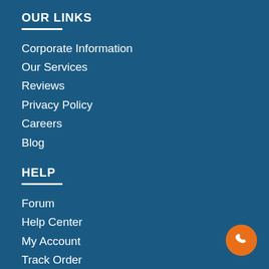OUR LINKS
Corporate Information
Our Services
Reviews
Privacy Policy
Careers
Blog
HELP
Forum
Help Center
My Account
Track Order
Airbag Module Location
DIY Auto Tips
[Figure (illustration): Orange circular phone call button in the bottom right corner]